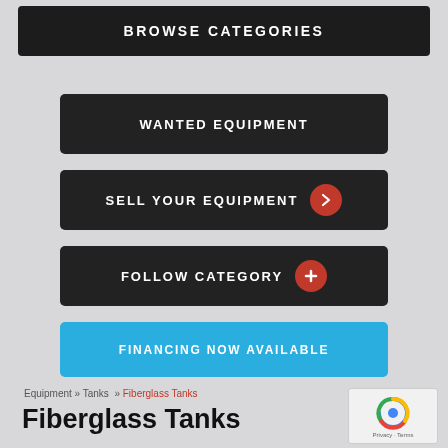BROWSE CATEGORIES
WANTED EQUIPMENT
SELL YOUR EQUIPMENT
FOLLOW CATEGORY
FINANCING NOW AVAILABLE
Equipment » Tanks  »  Fiberglass Tanks
Fiberglass Tanks